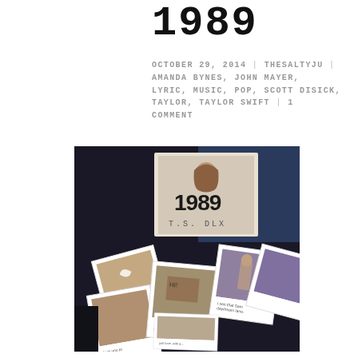1989
OCTOBER 29, 2014 | THESALTYJU | AMANDA BYNES, JOHN MAYER, LYRIC, MUSIC, POP, SCOTT DISICK, TAYLOR, TAYLOR SWIFT | 1 COMMENT
[Figure (photo): Photo of Taylor Swift's '1989' album CD case (deluxe edition marked T.S. DLX) displayed behind a spread of polaroid photographs with handwritten notes on a dark surface]